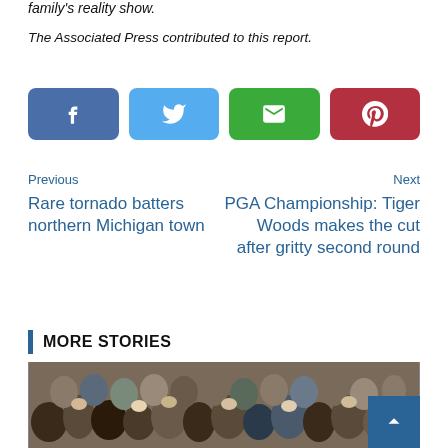family's reality show.
The Associated Press contributed to this report.
[Figure (infographic): Social sharing buttons: Facebook (blue), Twitter (light blue), Email (green), Pinterest (red)]
Previous
Rare tornado batters northern Michigan town
Next
PGA Championship: Tiger Woods makes the cut after gritty second round
MORE STORIES
[Figure (photo): Crowd of spectators at a sporting event]